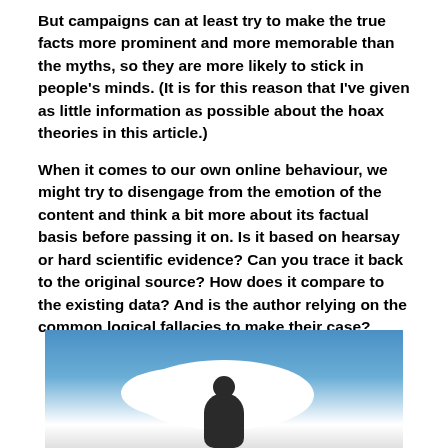But campaigns can at least try to make the true facts more prominent and more memorable than the myths, so they are more likely to stick in people's minds. (It is for this reason that I've given as little information as possible about the hoax theories in this article.)
When it comes to our own online behaviour, we might try to disengage from the emotion of the content and think a bit more about its factual basis before passing it on. Is it based on hearsay or hard scientific evidence? Can you trace it back to the original source? How does it compare to the existing data? And is the author relying on the common logical fallacies to make their case?
[Figure (photo): A photo showing a person (dark silhouette) standing above clouds against a blue sky background, as seen from above.]